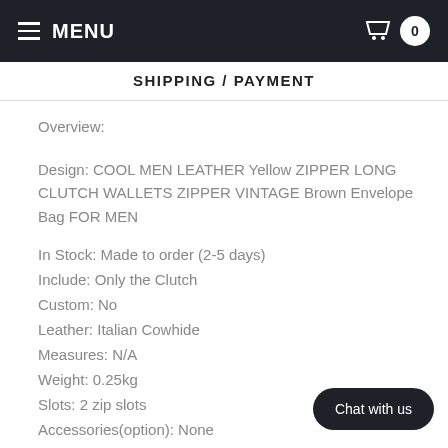MENU | 0
SHIPPING / PAYMENT
Overview:
Design: COOL MEN LEATHER Yellow ZIPPER LONG CLUTCH WALLETS ZIPPER VINTAGE Brown Envelope Bag FOR MEN
In Stock: Made to order (2-5 days)
Include: Only the Clutch
Custom: No
Leather: Italian Cowhide
Measures: N/A
Weight: 0.25kg
Slots: 2 zip slots
Accessories(option): None